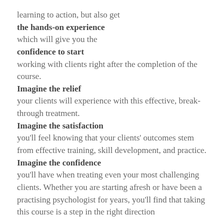learning to action, but also get the hands-on experience which will give you the confidence to start working with clients right after the completion of the course. Imagine the relief your clients will experience with this effective, break-through treatment. Imagine the satisfaction you'll feel knowing that your clients' outcomes stem from effective training, skill development, and practice. Imagine the confidence you'll have when treating even your most challenging clients. Whether you are starting afresh or have been a practising psychologist for years, you'll find that taking this course is a step in the right direction
Session Flow